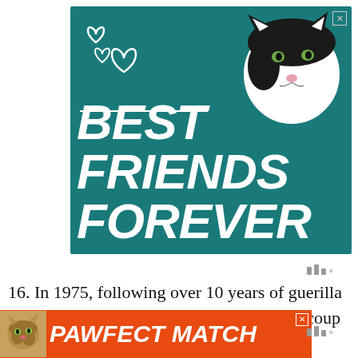[Figure (illustration): Advertisement banner with teal background showing a black and white cat face, decorative hearts, a horizontal white line, and bold italic white text reading 'BEST FRIENDS FOREVER']
16. In 1975, following over 10 years of guerilla war for independence and a 1974 military coup in Portugal,
[Figure (illustration): Advertisement banner with orange/red background showing a tabby cat photo on the left and bold italic white text reading 'PAWFECT MATCH']